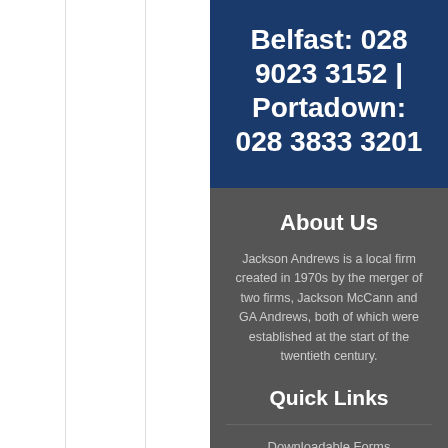Belfast: 028 9023 3152 | Portadown: 028 3833 3201
About Us
Jackson Andrews is a local firm created in 1970s by the merger of two firms, Jackson McCann and GA Andrews, both of which were established at the start of the twentieth century.
Quick Links
Downloadable Forms
Tax Rates & Tables